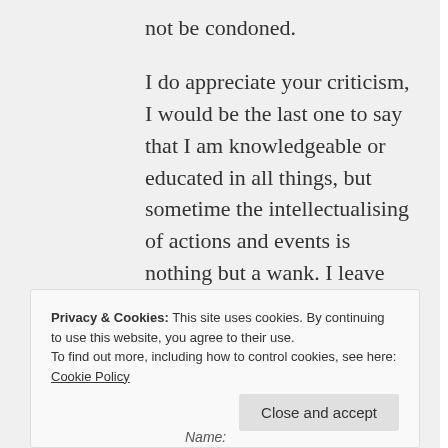not be condoned.
I do appreciate your criticism, I would be the last one to say that I am knowledgeable or educated in all things, but sometime the intellectualising of actions and events is nothing but a wank. I leave this to Mr.Garrie and his folk.
God I like you Cymbers, would love to have a drinking session with you one day. 🙂
Privacy & Cookies: This site uses cookies. By continuing to use this website, you agree to their use.
To find out more, including how to control cookies, see here: Cookie Policy
Close and accept
Name: